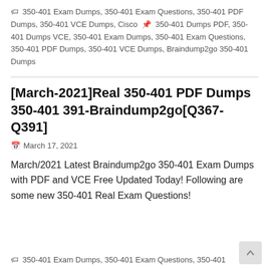350-401 Exam Dumps, 350-401 Exam Questions, 350-401 PDF Dumps, 350-401 VCE Dumps, Cisco  350-401 Dumps PDF, 350-401 Dumps VCE, 350-401 Exam Dumps, 350-401 Exam Questions, 350-401 PDF Dumps, 350-401 VCE Dumps, Braindump2go 350-401 Dumps
[March-2021]Real 350-401 PDF Dumps 350-401 391-Braindump2go[Q367-Q391]
March 17, 2021
March/2021 Latest Braindump2go 350-401 Exam Dumps with PDF and VCE Free Updated Today! Following are some new 350-401 Real Exam Questions!
350-401 Exam Dumps, 350-401 Exam Questions, 350-401